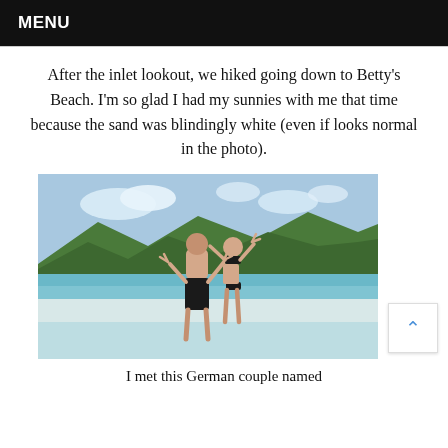MENU
After the inlet lookout, we hiked going down to Betty's Beach. I'm so glad I had my sunnies with me that time because the sand was blindingly white (even if looks normal in the photo).
[Figure (photo): Two people standing in shallow water at a white sand beach with turquoise water and green hills in the background. Both making peace signs. One wearing black board shorts, the other in a black bikini.]
I met this German couple named